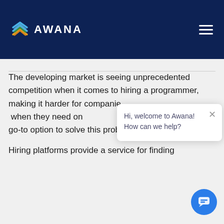AWANA
The developing market is seeing unprecedented competition when it comes to hiring a programmer, making it harder for companies to find one when they need one. Hiring platforms are becoming the go-to option to solve this problem.
Hiring platforms provide a service for finding
[Figure (screenshot): Chat popup with message: Hi, welcome to Awana! How can we help? with close button and chat bubble button]